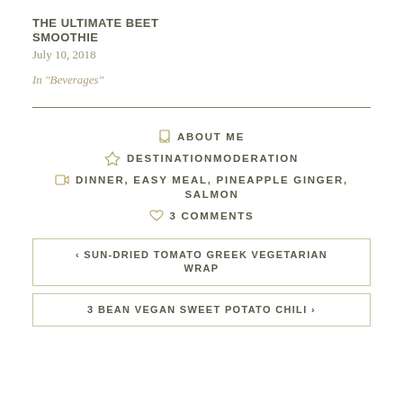THE ULTIMATE BEET SMOOTHIE
July 10, 2018
In "Beverages"
ABOUT ME
DESTINATIONMODERATION
DINNER, EASY MEAL, PINEAPPLE GINGER, SALMON
3 COMMENTS
‹ SUN-DRIED TOMATO GREEK VEGETARIAN WRAP
3 BEAN VEGAN SWEET POTATO CHILI ›